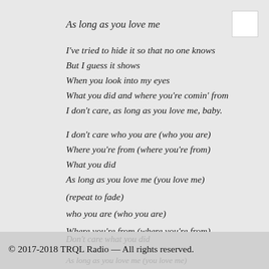As long as you love me
I've tried to hide it so that no one knows
But I guess it shows
When you look into my eyes
What you did and where you're comin' from
I don't care, as long as you love me, baby.
I don't care who you are (who you are)
Where you're from (where you're from)
What you did
As long as you love me (you love me)
(repeat to fade)
who you are (who you are)
Where you're from (where you're from)
Don't care what you did
© 2017-2018 TRQL Radio — All rights reserved.
As long as you love me (you love me)